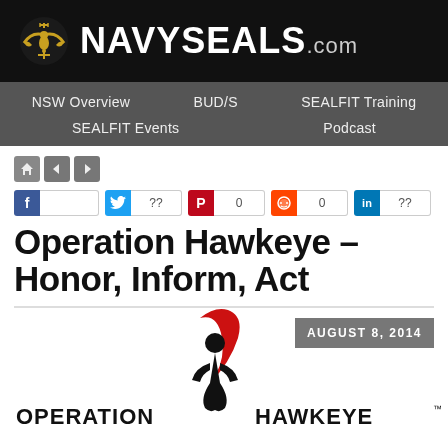[Figure (logo): NAVYSEALS.com website header with Navy SEAL trident logo in gold on black background]
NSW Overview | BUD/S | SEALFIT Training | SEALFIT Events | Podcast
[Figure (infographic): Social sharing buttons: Facebook, Twitter (??), Pinterest (0), Reddit (0), LinkedIn (??)]
Operation Hawkeye – Honor, Inform, Act
[Figure (logo): Operation Hawkeye logo — black figure holding torch with red flames, text reads OPERATION HAWKEYE with TM mark. Date: AUGUST 8, 2014]